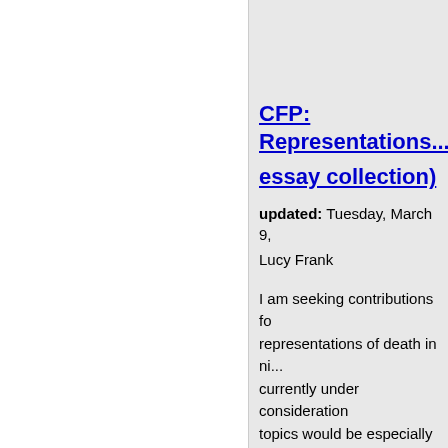CFP: Representations... essay collection)
updated: Tuesday, March 9,
Lucy Frank
I am seeking contributions fo... representations of death in ni... currently under consideration... topics would be especially we...
Representations of death/mou... Native American writing.
Representations of the Civil W... (Suggested topics might inclu... War; national mourning and p... battle-fields; autobiographic...